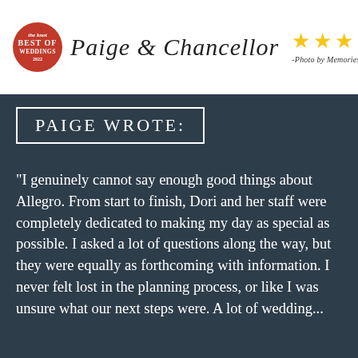[Figure (logo): The Knot Best of Weddings 2022 badge (red circle), cursive script 'Paige & Chancellor', five gold stars, italic caption '-Photo by Memories Are Forever']
PAIGE WROTE:
“I genuinely cannot say enough good things about Allegro. From start to finish, Dori and her staff were completely dedicated to making my day as special as possible. I asked a lot of questions along the way, but they were equally as forthcoming with information. I never felt lost in the planning process, or like I was unsure what our next steps were. A lot of wedding...